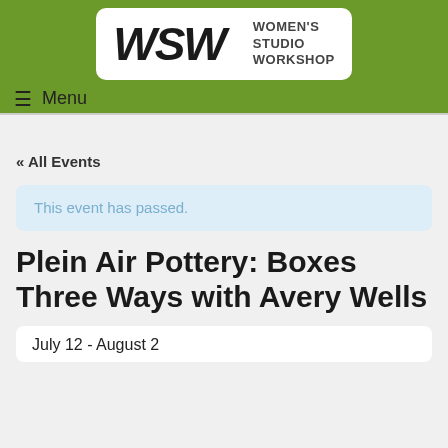[Figure (logo): Women's Studio Workshop (WSW) logo with stylized hand-lettered WSW text and vertical bar separator, on white background within green header]
≡ Menu
« All Events
This event has passed.
Plein Air Pottery: Boxes Three Ways with Avery Wells
July 12 - August 2